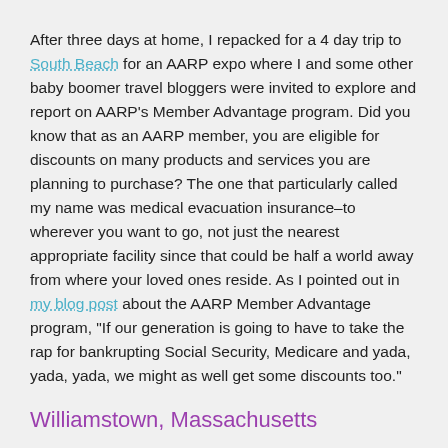After three days at home, I repacked for a 4 day trip to South Beach for an AARP expo where I and some other baby boomer travel bloggers were invited to explore and report on AARP's Member Advantage program. Did you know that as an AARP member, you are eligible for discounts on many products and services you are planning to purchase? The one that particularly called my name was medical evacuation insurance–to wherever you want to go, not just the nearest appropriate facility since that could be half a world away from where your loved ones reside. As I pointed out in my blog post about the AARP Member Advantage program, "If our generation is going to have to take the rap for bankrupting Social Security, Medicare and yada, yada, yada, we might as well get some discounts too."
Williamstown, Massachusetts